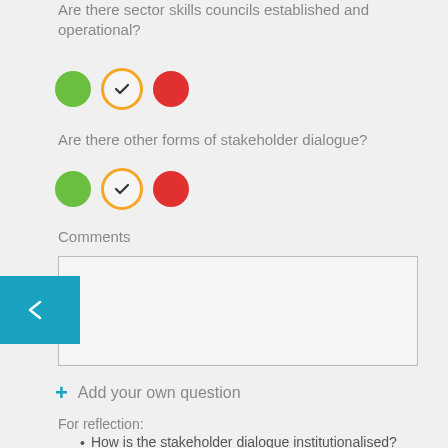Are there sector skills councils established and operational?
[Figure (infographic): Three circles: green filled, orange outlined with checkmark, red filled — rating options]
Are there other forms of stakeholder dialogue?
[Figure (infographic): Three circles: green filled, orange outlined with checkmark, red filled — rating options]
Comments
[Figure (infographic): Empty text area for comments input]
+ Add your own question
For reflection:
How is the stakeholder dialogue institutionalised?